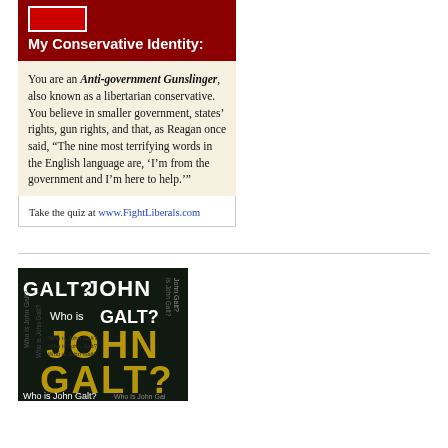[Figure (other): Red conservative identity quiz card with dark red header containing white square graphic and title 'My Conservative Identity:', cream body text about Anti-government Gunslinger libertarian conservative, and footer with quiz URL]
My Conservative Identity:
You are an Anti-government Gunslinger, also known as a libertarian conservative. You believe in smaller government, states' rights, gun rights, and that, as Reagan once said, “The nine most terrifying words in the English language are, ‘I’m from the government and I’m here to help.’”
Take the quiz at www.FightLiberals.com
[Figure (other): Dark background image with repeated text 'Who is John Galt?' and 'JOHN GALT?' in various sizes and colors including gold/yellow large letters and white smaller text]